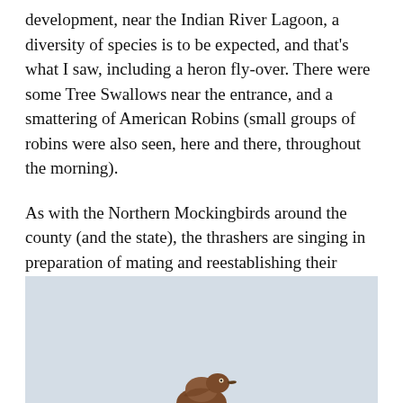development, near the Indian River Lagoon, a diversity of species is to be expected, and that’s what I saw, including a heron fly-over. There were some Tree Swallows near the entrance, and a smattering of American Robins (small groups of robins were also seen, here and there, throughout the morning).
As with the Northern Mockingbirds around the county (and the state), the thrashers are singing in preparation of mating and reestablishing their territories. A sure sign of spring.
[Figure (photo): Photograph with a light blue-gray sky background showing the top of a bird (appears to be a thrasher or similar bird) partially visible at the bottom center of the image.]